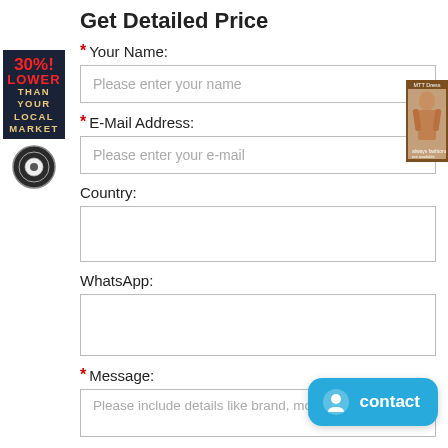Get Detailed Price
* Your Name:
Please enter your name
* E-Mail Address:
Please enter your e-mail
Country:
WhatsApp:
* Message:
Please include details like brand, model, quantity